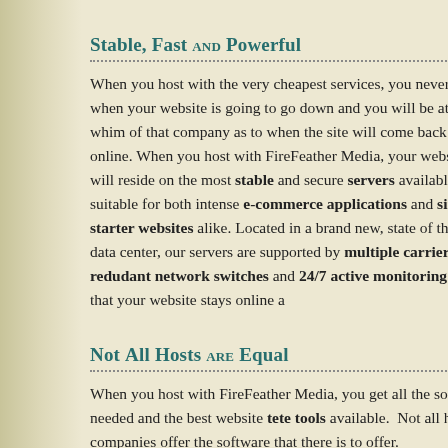Stable, Fast and Powerful
When you host with the very cheapest services, you never know when your website is going to go down and you will be at the whim of that company as to when the site will come back online. When you host with FireFeather Media, your website will reside on the most stable and secure servers available, suitable for both intense e-commerce applications and simpler starter websites alike. Located in a brand new, state of the art data center, our servers are supported by multiple carriers, redudant network switches and 24/7 active monitoring so that your website stays online a
Not All Hosts are Equal
When you host with FireFeather Media, you get all the software needed and the best website tools available. Not all hosting companies offer the software that there is to offer.